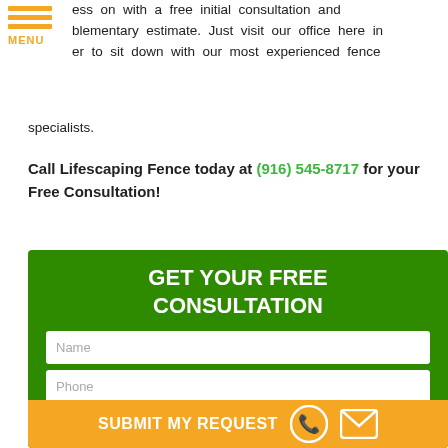ess on with a free initial consultation and complementary estimate. Just visit our office here in order to sit down with our most experienced fence specialists.
Call Lifescaping Fence today at (916) 545-8717 for your Free Consultation!
[Figure (screenshot): Web form with green background titled GET YOUR FREE CONSULTATION, containing Name, Phone, Email, and How Can We Help You? fields, and an orange SUBMIT MY REQUEST button with phone and email icons.]